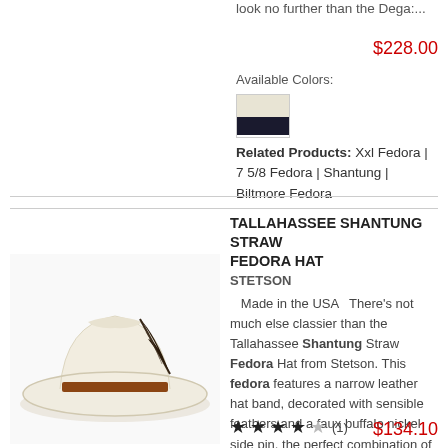look no further than the Dega:...
$228.00
Available Colors:
[Figure (photo): Color swatch showing cream/beige on top and dark navy band on bottom]
Related Products: Xxl Fedora | 7 5/8 Fedora | Shantung | Biltmore Fedora
TALLAHASSEE SHANTUNG STRAW FEDORA HAT
STETSON
[Figure (photo): White/cream straw fedora hat with brown leather band and feather decoration]
Made in the USA   There's not much else classier than the Tallahassee Shantung Straw Fedora Hat from Stetson. This fedora features a narrow leather hat band, decorated with sensible feathers and a faux buffalo nickel side pin, the perfect combination of style and sophistication....
★★★★☆ (1)
$134.10